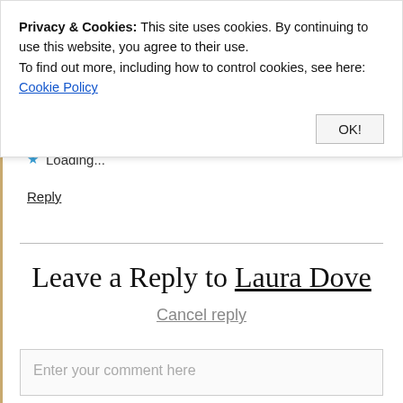down. Most people aren't genuinely happy for u. It's sad. Weeding out the bad applies
Loading...
Reply
Privacy & Cookies: This site uses cookies. By continuing to use this website, you agree to their use. To find out more, including how to control cookies, see here: Cookie Policy
OK!
Leave a Reply to Laura Dove
Cancel reply
Enter your comment here